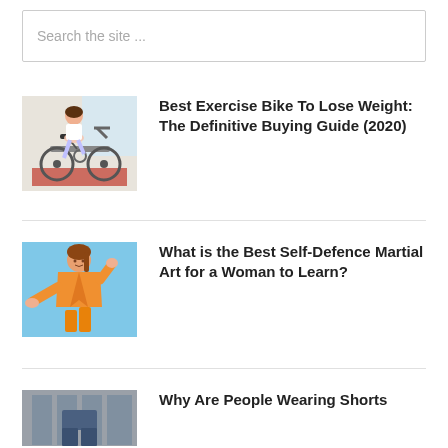Search the site ...
[Figure (photo): Woman riding a white stationary exercise bike on a red mat indoors]
Best Exercise Bike To Lose Weight: The Definitive Buying Guide (2020)
[Figure (photo): Woman in orange karate gi with orange belt in martial arts stance against light blue background]
What is the Best Self-Defence Martial Art for a Woman to Learn?
[Figure (photo): Person wearing shorts, partial view]
Why Are People Wearing Shorts